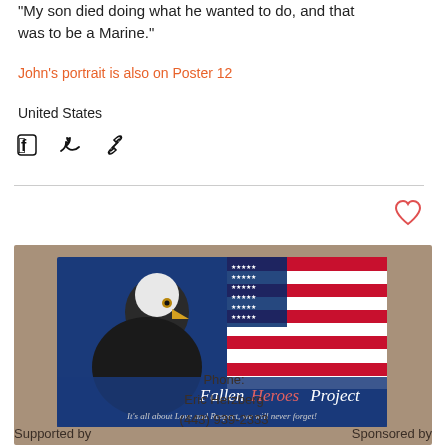"My son died doing what he wanted to do, and that was to be a Marine."
John's portrait is also on Poster 12
United States
[Figure (infographic): Social share icons: Facebook, Twitter, and link/chain icons in black]
[Figure (infographic): Red heart/like icon (outlined)]
[Figure (illustration): Fallen Heroes Project logo banner: bald eagle with American flag background, text reads 'Fallen Heroes Project - It's all about Love and Respect, we will never forget!']
Phone:
Eric Herzberg
(443) 939-2333
Supported by          Sponsored by